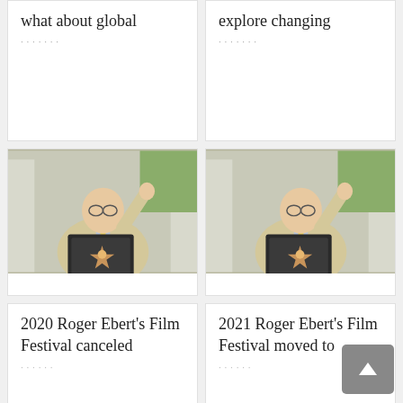what about global
explore changing
[Figure (photo): Man in beige suit giving thumbs up, holding Hollywood Walk of Fame star plaque]
[Figure (photo): Man in beige suit giving thumbs up, holding Hollywood Walk of Fame star plaque]
2020 Roger Ebert's Film Festival canceled
2021 Roger Ebert's Film Festival moved to
[Figure (photo): Man in beige suit giving thumbs up, partial view]
[Figure (photo): Interior of ornate theater with curved balcony and lighting]